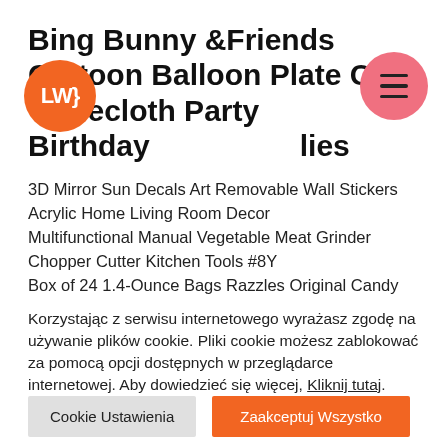Bing Bunny &Friends Cartoon Balloon Plate Cup Tablecloth Party Birthday Supplies
[Figure (logo): Orange circle logo with white text 'LWH']
[Figure (logo): Pink/salmon circle with hamburger menu icon (three horizontal lines)]
3D Mirror Sun Decals Art Removable Wall Stickers Acrylic Home Living Room Decor
Multifunctional Manual Vegetable Meat Grinder Chopper Cutter Kitchen Tools #8Y
Box of 24 1.4-Ounce Bags Razzles Original Candy
Korzystając z serwisu internetowego wyrażasz zgodę na używanie plików cookie. Pliki cookie możesz zablokować za pomocą opcji dostępnych w przeglądarce internetowej. Aby dowiedzieć się więcej, Kliknij tutaj.
Cookie Ustawienia
Zaakceptuj Wszystko